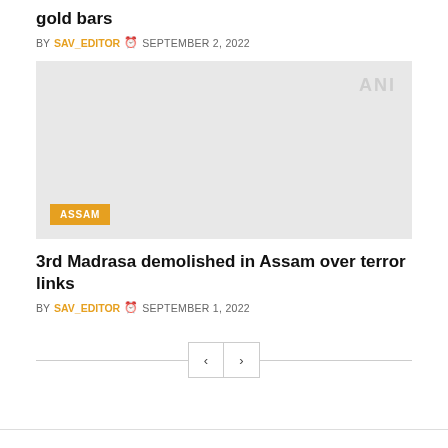gold bars
BY SAV_EDITOR  SEPTEMBER 2, 2022
[Figure (photo): Faded/placeholder news image with ANI watermark in top right and ASSAM orange tag badge in bottom left]
3rd Madrasa demolished in Assam over terror links
BY SAV_EDITOR  SEPTEMBER 1, 2022
< >  pagination controls